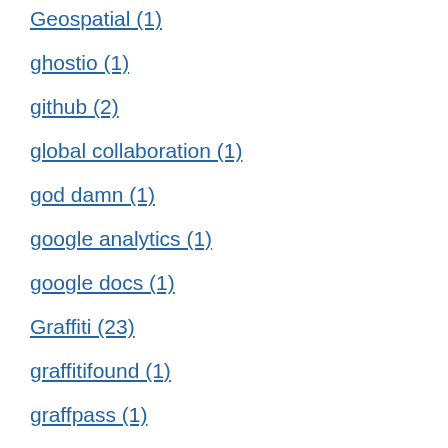Geospatial (1)
ghostio (1)
github (2)
global collaboration (1)
god damn (1)
google analytics (1)
google docs (1)
Graffiti (23)
graffitifound (1)
graffpass (1)
growth hacking (1)
h1b visa (1)
hackathon (1)